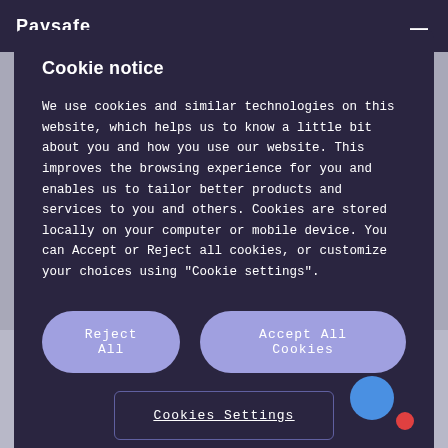Paysafe
Cookie notice
We use cookies and similar technologies on this website, which helps us to know a little bit about you and how you use our website. This improves the browsing experience for you and enables us to tailor better products and services to you and others. Cookies are stored locally on your computer or mobile device. You can Accept or Reject all cookies, or customize your choices using "Cookie settings".
Reject All
Accept All Cookies
Cookies Settings
Aug 18, 2022 - Massachusetts blazed the trail in 1978, making it illegal for businesses to refuse cash payments back when debit cards and credit cards were still new and digital wallets were the stuff of science fiction.